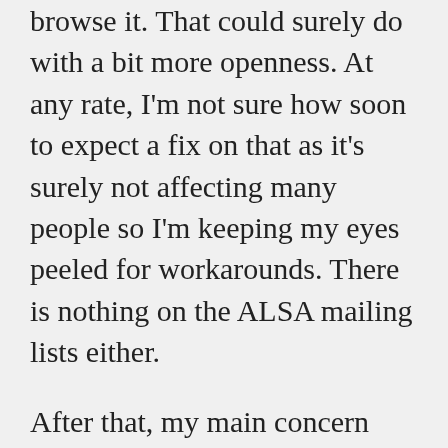browse it. That could surely do with a bit more openness. At any rate, I'm not sure how soon to expect a fix on that as it's surely not affecting many people so I'm keeping my eyes peeled for workarounds. There is nothing on the ALSA mailing lists either.
After that, my main concern was getting suspend working. Yes, I can hear your groans but it's not that bad. I promise. The issue was a some sort of concurrency related nastiness in the current xf86-video-intel driver that was causing problems on resume. A nice workaround script was...